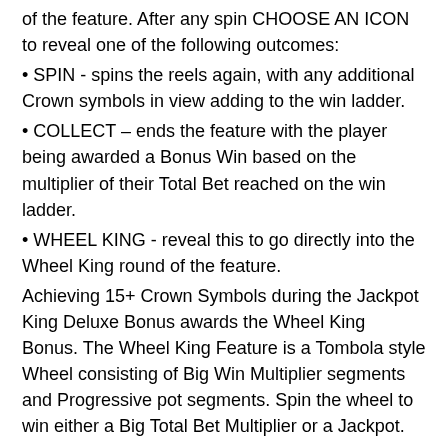of the feature. After any spin CHOOSE AN ICON to reveal one of the following outcomes:
SPIN - spins the reels again, with any additional Crown symbols in view adding to the win ladder.
COLLECT – ends the feature with the player being awarded a Bonus Win based on the multiplier of their Total Bet reached on the win ladder.
WHEEL KING - reveal this to go directly into the Wheel King round of the feature.
Achieving 15+ Crown Symbols during the Jackpot King Deluxe Bonus awards the Wheel King Bonus. The Wheel King Feature is a Tombola style Wheel consisting of Big Win Multiplier segments and Progressive pot segments. Spin the wheel to win either a Big Total Bet Multiplier or a Jackpot.
NOTE - The Jackpot King Deluxe Jackpots can only be won during the Wheel King part of the bonus. When a jackpot is won, it is reset to the Reserve amount and begins to rise again. The chances of winning a jackpot increases based on the Jackpot value (Royal and Regal pots are guaranteed to